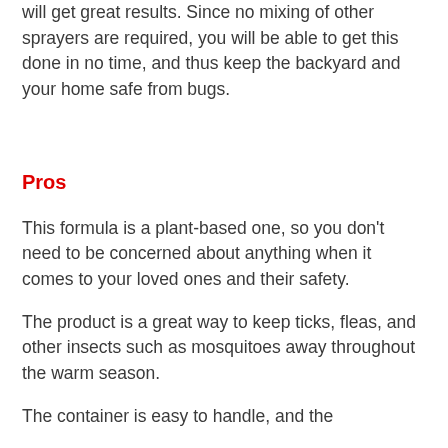will get great results. Since no mixing of other sprayers are required, you will be able to get this done in no time, and thus keep the backyard and your home safe from bugs.
Pros
This formula is a plant-based one, so you don't need to be concerned about anything when it comes to your loved ones and their safety.
The product is a great way to keep ticks, fleas, and other insects such as mosquitoes away throughout the warm season.
The container is easy to handle, and the